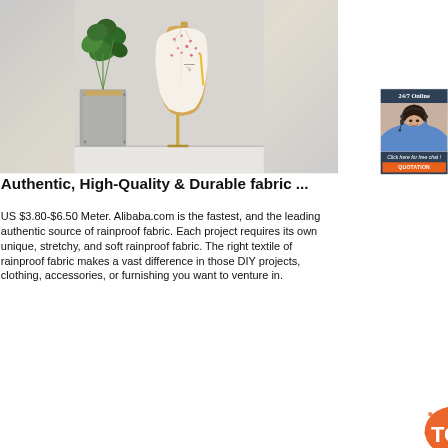[Figure (photo): Hero photo showing a sewing/dressmaking mannequin with a floral top and a plant in a grey pot on a light background]
[Figure (photo): Chat widget overlay with dark blue header '24/7 Online', photo of a smiling woman with headset, italic text 'Click here for free chat!', and an orange QUOTATION button]
Authentic, High-Quality & Durable fabric ...
US $3.80-$6.50 Meter. Alibaba.com is the fastest, and the leading authentic source of rainproof fabric. Each project requires its own unique, stretchy, and soft rainproof fabric. The right textile of rainproof fabric makes a vast difference in those DIY projects, clothing, accessories, or furnishing you want to venture in.